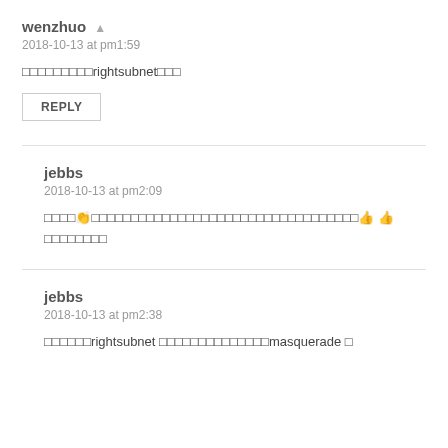wenzhuo ▲
2018-10-13 at pm1:59
□□□□□□□□□rightsubnet□□□
REPLY
jebbs
2018-10-13 at pm2:09
□□□□👏□□□□□□□□□□□□□□□□□□□□□□□□□□□□□□□□👍 👍 □□□□□□□□
jebbs
2018-10-13 at pm2:38
□□□□□□rightsubnet □□□□□□□□□□□□□□□masquerade □